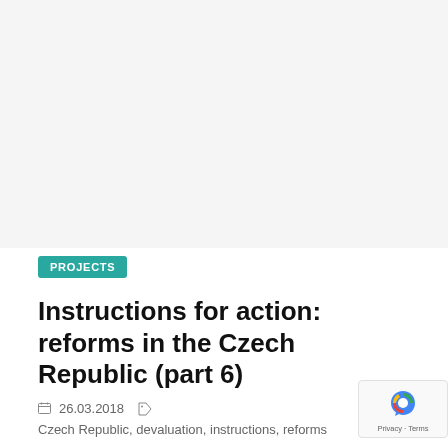[Figure (other): White/light gray blank image area at top of the page]
PROJECTS
Instructions for action: reforms in the Czech Republic (part 6)
26.03.2018   Czech Republic, devaluation, instructions, reforms
By 1990, there were 124,000 private entrepreneurs in Czech Republic, and in 2013 – 2.7 million. In 1991, GD fall by 10%, but in 1996 it showed an increase — 4.5%